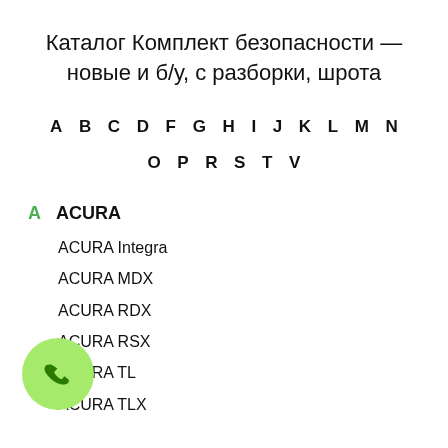Каталог Комплект безопасности — новые и б/у, с разборки, шрота
A B C D F G H I J K L M N O P R S T V
A ACURA
ACURA Integra
ACURA MDX
ACURA RDX
ACURA RSX
ACURA TL
ACURA TLX